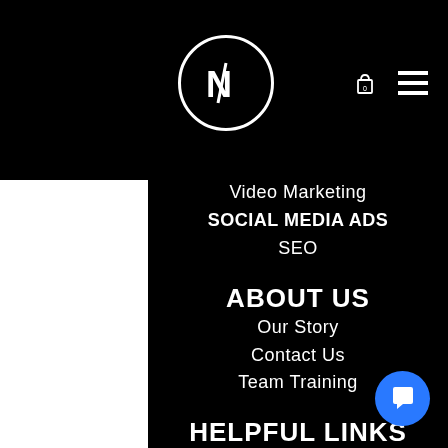[Figure (logo): Circular logo with stylized N inside a white circle outline, on black background nav bar with cart icon (0) and hamburger menu]
Video Marketing
SOCIAL MEDIA ADS
SEO
ABOUT US
Our Story
Contact Us
Team Training
HELPFUL LINKS
FAQ
Shipping & Returns
Terms & Conditions
Payment Methods